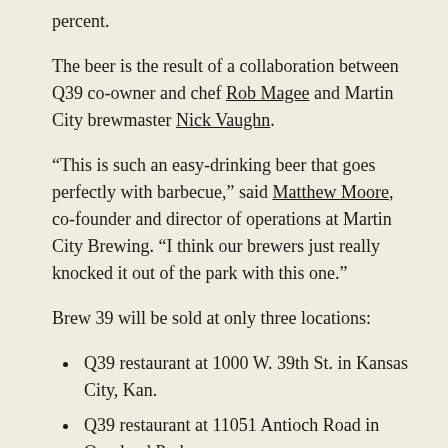percent.
The beer is the result of a collaboration between Q39 co-owner and chef Rob Magee and Martin City brewmaster Nick Vaughn.
“This is such an easy-drinking beer that goes perfectly with barbecue,” said Matthew Moore, co-founder and director of operations at Martin City Brewing. “I think our brewers just really knocked it out of the park with this one.”
Brew 39 will be sold at only three locations:
Q39 restaurant at 1000 W. 39th St. in Kansas City, Kan.
Q39 restaurant at 11051 Antioch Road in Overland Park
Martin City Brewing’s taproom at 500 E. 135th St. in Kansas City
Moore said Q39 had wanted to offer an exclusive beer at its restaurants for awhile and reached out to Martin City Brewing to collaborate because they have been selling a lot of their